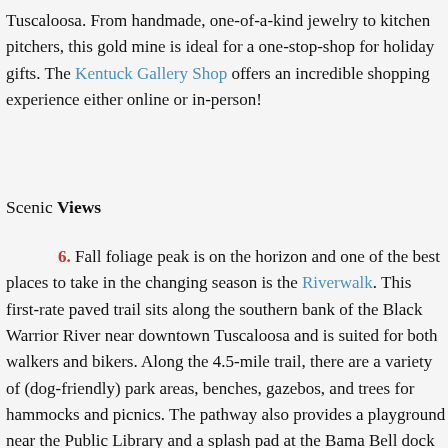Tuscaloosa. From handmade, one-of-a-kind jewelry to kitchen pitchers, this gold mine is ideal for a one-stop-shop for holiday gifts. The Kentuck Gallery Shop offers an incredible shopping experience either online or in-person!
Scenic Views
6. Fall foliage peak is on the horizon and one of the best places to take in the changing season is the Riverwalk. This first-rate paved trail sits along the southern bank of the Black Warrior River near downtown Tuscaloosa and is suited for both walkers and bikers. Along the 4.5-mile trail, there are a variety of (dog-friendly) park areas, benches, gazebos, and trees for hammocks and picnics. The pathway also provides a playground near the Public Library and a splash pad at the Bama Bell dock for the kids. For nighttime walkers, it is well-lit with street lamps along the way.